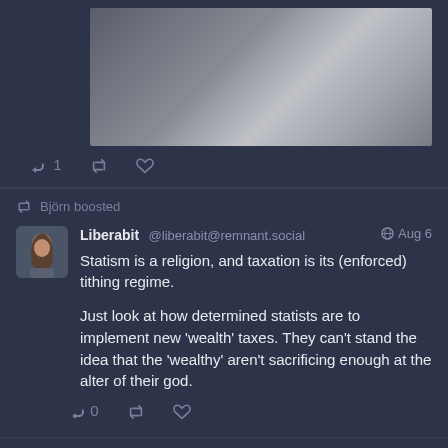[Figure (screenshot): Blurred/redacted profile image or media image above the tweet, shown as a grey gradient rectangle]
↩ 1  🔁  ★
🔁 Björn boosted
Liberabit @liberabit@remnant.social  🌐 Aug 6
Statism is a religion, and taxation is its (enforced) tithing regime.

Just look at how determined statists are to implement new 'wealth' taxes. They can't stand the idea that the 'wealthy' aren't sacrificing enough at the alter of their god.
↩ 0  🔁  ★